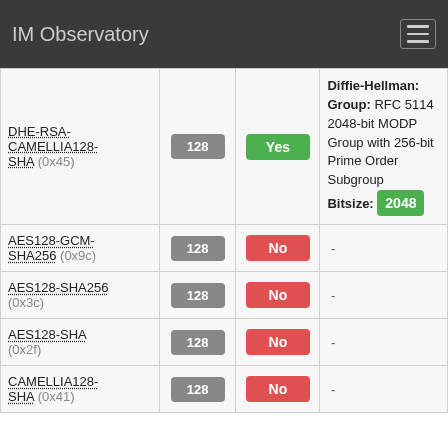IM Observatory
| Cipher | Bits | PFS | Details |
| --- | --- | --- | --- |
| DHE-RSA-CAMELLIA128-SHA (0x45) | 128 | Yes | Diffie-Hellman: Group: RFC 5114 2048-bit MODP Group with 256-bit Prime Order Subgroup Bitsize: 2048 |
| AES128-GCM-SHA256 (0x9c) | 128 | No | - |
| AES128-SHA256 (0x3c) | 128 | No | - |
| AES128-SHA (0x2f) | 128 | No | - |
| CAMELLIA128-SHA (0x41) | 128 | No | - |